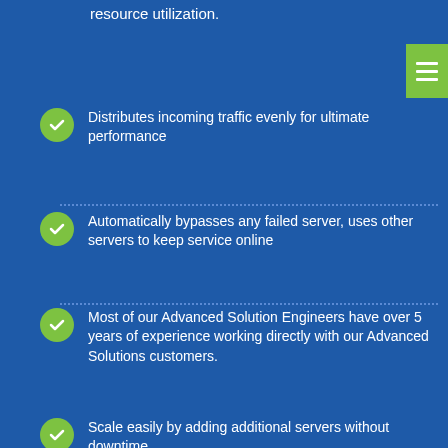resource utilization.
Distributes incoming traffic evenly for ultimate performance
Automatically bypasses any failed server, uses other servers to keep service online
Most of our Advanced Solution Engineers have over 5 years of experience working directly with our Advanced Solutions customers.
Scale easily by adding additional servers without downtime
Same account manager and dedicated team manages and monitors your infrastructure daily
Flexibility to put servers in active/passive mode to...